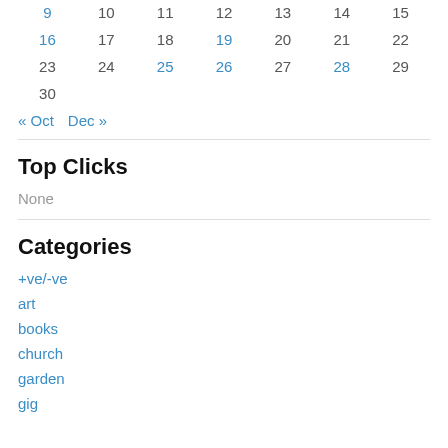| 9 | 10 | 11 | 12 | 13 | 14 | 15 |
| 16 | 17 | 18 | 19 | 20 | 21 | 22 |
| 23 | 24 | 25 | 26 | 27 | 28 | 29 |
| 30 |  |  |  |  |  |  |
« Oct   Dec »
Top Clicks
None
Categories
+ve/-ve
art
books
church
garden
gig